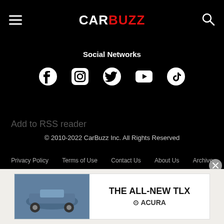CARBUZZ
Social Networks
[Figure (infographic): Social media icons: Facebook, Instagram, Twitter, YouTube, TikTok]
Add to RSS reader
© 2010-2022 CarBuzz Inc. All Rights Reserved
Privacy Policy   Terms of Use   Contact Us   About Us   Archive
Sitemap
[Figure (infographic): Advertisement banner: THE ALL-NEW TLX ACURA, showing car image on left and text on right]